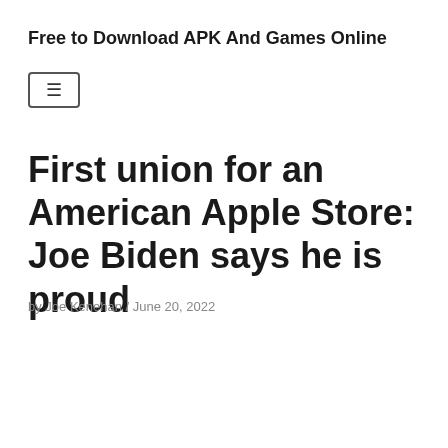Free to Download APK And Games Online
[Figure (other): Hamburger menu button with three horizontal lines inside a rounded rectangle border]
First union for an American Apple Store: Joe Biden says he is proud
by Joe Kenehan / June 20, 2022